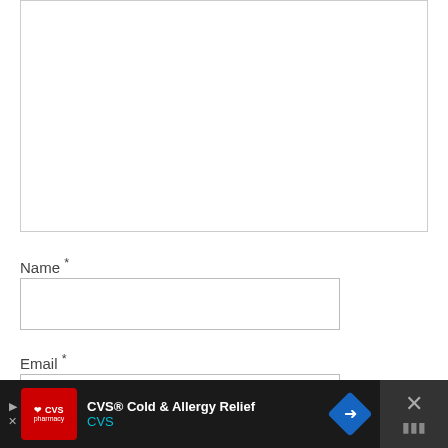[Figure (screenshot): A large empty textarea input box with a light gray border]
Name *
[Figure (screenshot): A text input field for Name]
Email *
[Figure (screenshot): A text input field for Email]
[Figure (screenshot): Ad banner overlay at bottom: CVS Cold & Allergy Relief advertisement with close button]